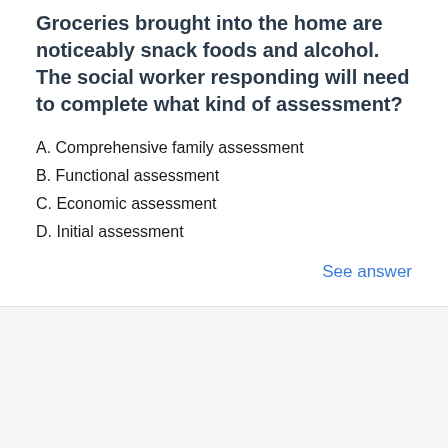Groceries brought into the home are noticeably snack foods and alcohol. The social worker responding will need to complete what kind of assessment?
A. Comprehensive family assessment
B. Functional assessment
C. Economic assessment
D. Initial assessment
See answer